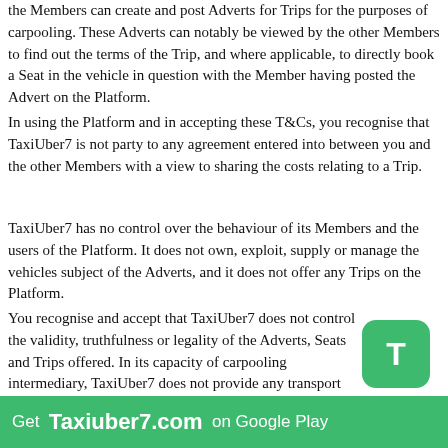the Members can create and post Adverts for Trips for the purposes of carpooling. These Adverts can notably be viewed by the other Members to find out the terms of the Trip, and where applicable, to directly book a Seat in the vehicle in question with the Member having posted the Advert on the Platform.
In using the Platform and in accepting these T&Cs, you recognise that TaxiUber7 is not party to any agreement entered into between you and the other Members with a view to sharing the costs relating to a Trip.
TaxiUber7 has no control over the behaviour of its Members and the users of the Platform. It does not own, exploit, supply or manage the vehicles subject of the Adverts, and it does not offer any Trips on the Platform.
You recognise and accept that TaxiUber7 does not control the validity, truthfulness or legality of the Adverts, Seats and Trips offered. In its capacity of carpooling intermediary, TaxiUber7 does not provide any transport service and does not act in the capacity of carrier; the role of TaxiUber7 is limited to facilitating access to the Platform.
The Members (Drivers or Passengers) act under their sole and full responsibility.
Get Taxiuber7.com on Google Play